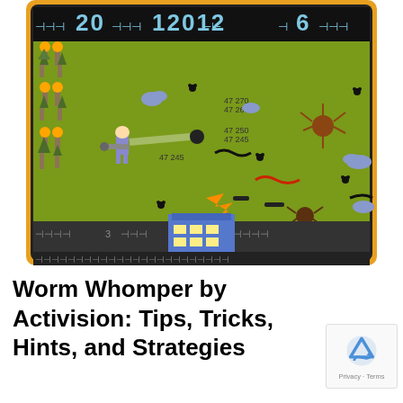[Figure (screenshot): Screenshot of Worm Whomper Atari game by Activision showing a green field with a cannon-wielding character, various worms and creatures, score display showing 20, 12012, 6 at top, and a blue building at the bottom center. The game field is bordered by a yellow/orange frame with track-like patterns.]
Worm Whomper by Activision: Tips, Tricks, Hints, and Strategies